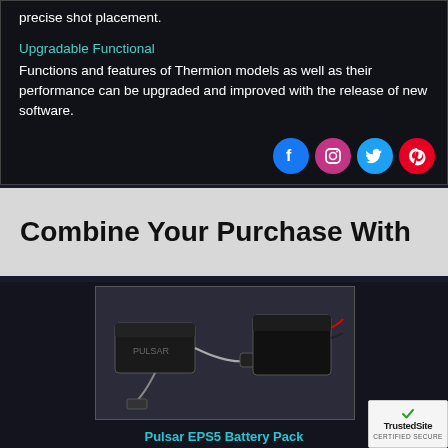precise shot placement.
Upgradable Functional
Functions and features of Thermion models as well as their performance can be upgraded and improved with the release of new software.
[Figure (other): Social media icons: Facebook, Instagram, Twitter, Pinterest]
Combine Your Purchase With
[Figure (photo): Pulsar EPS5 Battery Pack product photo showing battery pack components including a flat battery, cables, and connectors on a white background]
Pulsar EPS5 Battery Pack
[Figure (logo): TrustedSite Certified Secure badge]